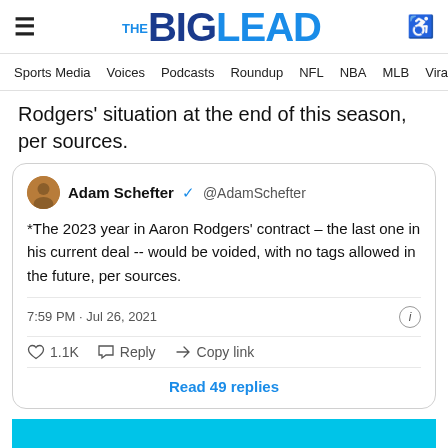THE BIG LEAD
Sports Media  Voices  Podcasts  Roundup  NFL  NBA  MLB  Viral I...
Rodgers' situation at the end of this season, per sources.
Adam Schefter @AdamSchefter
*The 2023 year in Aaron Rodgers' contract – the last one in his current deal -- would be voided, with no tags allowed in the future, per sources.
7:59 PM · Jul 26, 2021
♡ 1.1K  Reply  Copy link
Read 49 replies